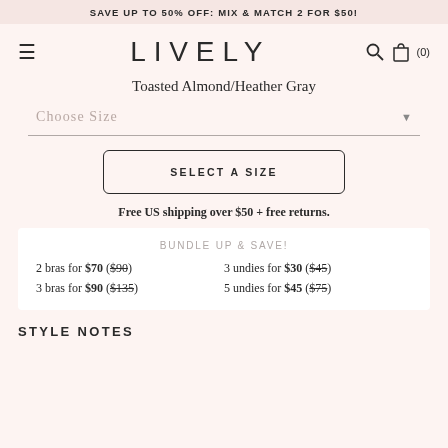SAVE UP TO 50% OFF: MIX & MATCH 2 FOR $50!
LIVELY
Toasted Almond/Heather Gray
Choose Size
SELECT A SIZE
Free US shipping over $50 + free returns.
BUNDLE UP & SAVE!
2 bras for $70 ($90)
3 undies for $30 ($45)
3 bras for $90 ($135)
5 undies for $45 ($75)
STYLE NOTES